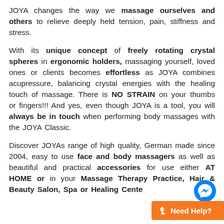JOYA changes the way we massage ourselves and others to relieve deeply held tension, pain, stiffness and stress.
With its unique concept of freely rotating crystal spheres in ergonomic holders, massaging yourself, loved ones or clients becomes effortless as JOYA combines acupressure, balancing crystal energies with the healing touch of massage. There is NO STRAIN on your thumbs or fingers!!! And yes, even though JOYA is a tool, you will always be in touch when performing body massages with the JOYA Classic.
Discover JOYAs range of high quality, German made since 2004, easy to use face and body massagers as well as beautiful and practical accessories for use either AT HOME or in your Massage Therapy Practice, Hair & Beauty Salon, Spa or Healing Cente